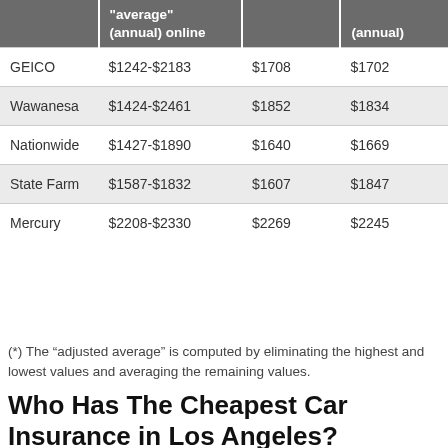|  | "average" (annual) online |  | (annual) |
| --- | --- | --- | --- |
| GEICO | $1242-$2183 | $1708 | $1702 |
| Wawanesa | $1424-$2461 | $1852 | $1834 |
| Nationwide | $1427-$1890 | $1640 | $1669 |
| State Farm | $1587-$1832 | $1607 | $1847 |
| Mercury | $2208-$2330 | $2269 | $2245 |
(*) The “adjusted average” is computed by eliminating the highest and lowest values and averaging the remaining values.
Who Has The Cheapest Car Insurance in Los Angeles?